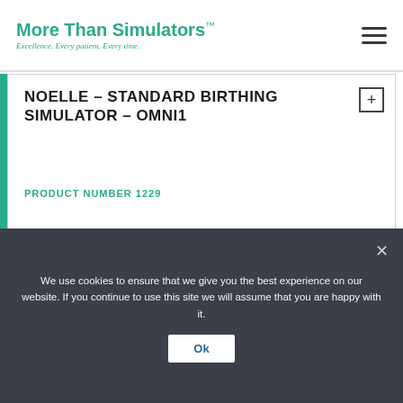More Than Simulators™ — Excellence. Every patient. Every time.
NOELLE – STANDARD BIRTHING SIMULATOR – OMNI1
PRODUCT NUMBER 1229
[Figure (photo): Left half shows a female birthing simulator mannequin face with light brown/blonde hair on a white pillow. Right half shows a medical professional in blue gloves working with medical equipment/IV bag.]
We use cookies to ensure that we give you the best experience on our website. If you continue to use this site we will assume that you are happy with it.